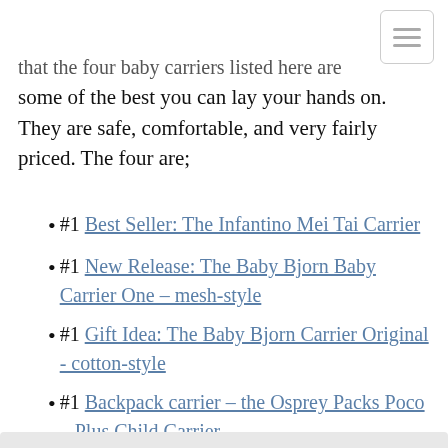[Figure (other): Hamburger menu icon button — three horizontal lines in a rounded rectangle]
that the four baby carriers listed here are some of the best you can lay your hands on. They are safe, comfortable, and very fairly priced. The four are;
#1 Best Seller: The Infantino Mei Tai Carrier
#1 New Release: The Baby Bjorn Baby Carrier One – mesh-style
#1 Gift Idea: The Baby Bjorn Carrier Original - cotton-style
#1 Backpack carrier – the Osprey Packs Poco – Plus Child Carrier